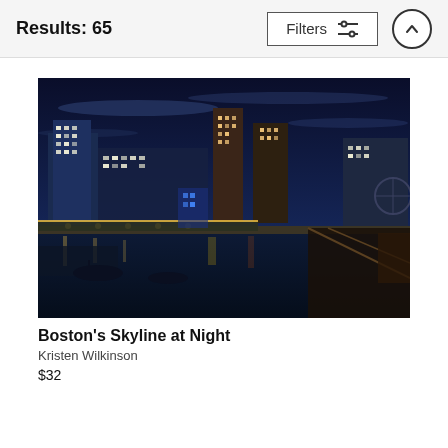Results: 65
[Figure (photo): Boston skyline at night with city lights reflecting on harbor water, bridges and waterfront structures visible]
Boston's Skyline at Night
Kristen Wilkinson
$32